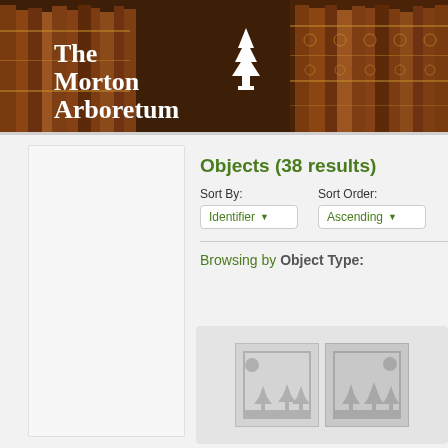[Figure (screenshot): The Morton Arboretum website header banner with white logo and tree icon on dark brown background with books]
Objects (38 results)
Sort By: Identifier▼   Sort Order: Ascending▼
Browsing by Object Type:
[Figure (screenshot): Two grey placeholder image thumbnails with tree/landscape icons inside a light grey card]